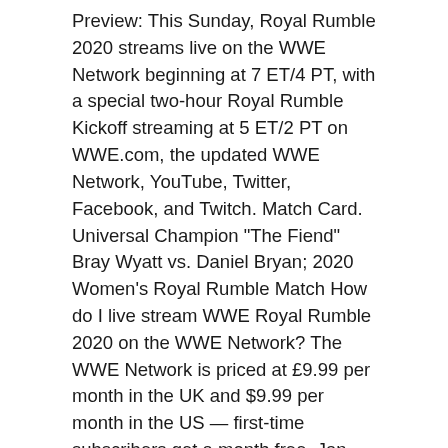Preview: This Sunday, Royal Rumble 2020 streams live on the WWE Network beginning at 7 ET/4 PT, with a special two-hour Royal Rumble Kickoff streaming at 5 ET/2 PT on WWE.com, the updated WWE Network, YouTube, Twitter, Facebook, and Twitch. Match Card. Universal Champion "The Fiend" Bray Wyatt vs. Daniel Bryan; 2020 Women's Royal Rumble Match How do I live stream WWE Royal Rumble 2020 on the WWE Network? The WWE Network is priced at £9.99 per month in the UK and $9.99 per month in the US — first-time subscribers get a month free. Jan 26, 2020 · The 2020 WWE Royal Rumble main card is set to begin on Sunday at 7 p.m. ET on the WWE Network. The kickoff show, which generally features a couple matches to get things rolling, will begin two Jan 26, 2020 · Preview: This Sunday, Royal Rumble 2020 streams live on the WWE Network beginning at 7 ET/4 PT, with a special two-hour Royal Rumble Kickoff streaming at 5 ET/2 PT on WWE.com, the updated WWE Network, YouTube, Twitter, Facebook, and Twitch. DATE: